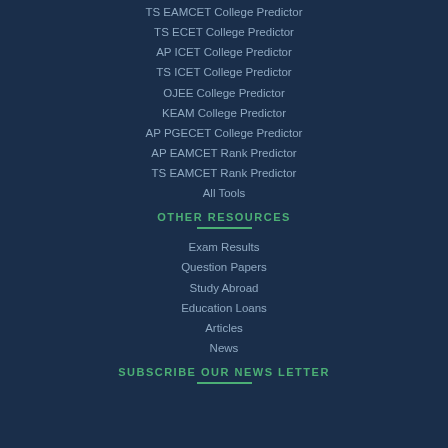TS EAMCET College Predictor
TS ECET College Predictor
AP ICET College Predictor
TS ICET College Predictor
OJEE College Predictor
KEAM College Predictor
AP PGECET College Predictor
AP EAMCET Rank Predictor
TS EAMCET Rank Predictor
All Tools
OTHER RESOURCES
Exam Results
Question Papers
Study Abroad
Education Loans
Articles
News
SUBSCRIBE OUR NEWS LETTER